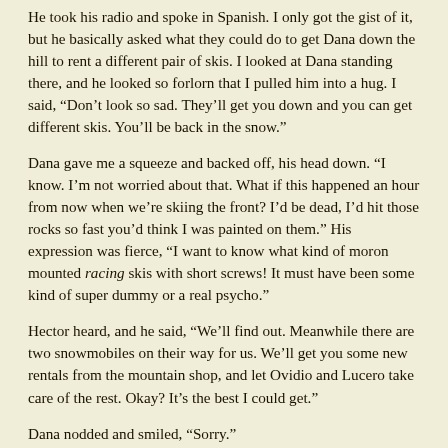He took his radio and spoke in Spanish.  I only got the gist of it, but he basically asked what they could do to get Dana down the hill to rent a different pair of skis.  I looked at Dana standing there, and he looked so forlorn that I pulled him into a hug.  I said, “Don’t look so sad.  They’ll get you down and you can get different skis.  You’ll be back in the snow.”
Dana gave me a squeeze and backed off, his head down.  “I know.  I’m not worried about that.  What if this happened an hour from now when we’re skiing the front?  I’d be dead, I’d hit those rocks so fast you’d think I was painted on them.”  His expression was fierce, “I want to know what kind of moron mounted racing skis with short screws!  It must have been some kind of super dummy or a real psycho.”
Hector heard, and he said, “We’ll find out.  Meanwhile there are two snowmobiles on their way for us.  We’ll get you some new rentals from the mountain shop, and let Ovidio and Lucero take care of the rest.  Okay?  It’s the best I could get.”
Dana nodded and smiled, “Sorry.”
Hector turned to me and Tom and said, “You guys ski down to the hotel area, and we’ll start again once Dana has new skis.  There’s no sense for you to wait up here.”